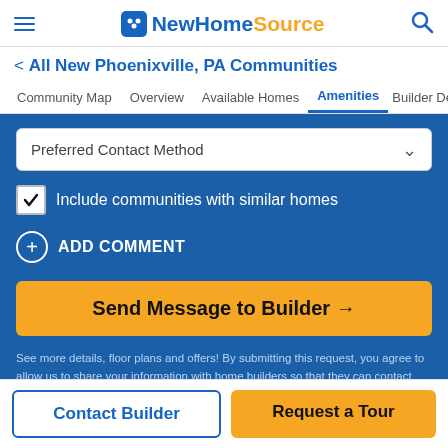NewHomeSource
< All New Phoenixville, PA Communities
Community Map  Overview  Available Homes  Amenities  Builder De >
Preferred Contact Method
Include communities with similar homes
ADD COMMENT
Send Message to Builder →
See more details, floor plans and offers! By submitting this request, you agree to allow us to share your information with home builders so that they can contact you about your interest in this and similar properties. For more information, see our Privacy Policy, including TCPA Policy, and Terms of Use
Contact Builder  Request a Tour